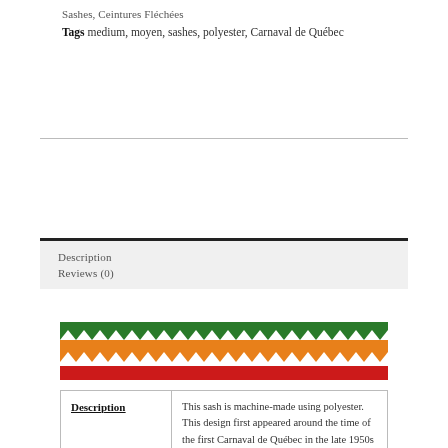Sashes, Ceintures Fléchées
Tags medium, moyen, sashes, polyester, Carnaval de Québec
Description
Reviews (0)
[Figure (photo): Colorful woven sash with green, orange, white, and red zigzag/flame pattern (ceinture fléchée)]
| Description |  |
| --- | --- |
| Description | This sash is machine-made using polyester. This design first appeared around the time of the first Carnaval de Québec in the late 1950s and has since been adopted by many different festivals and organizations. Due to its widespread use, this |